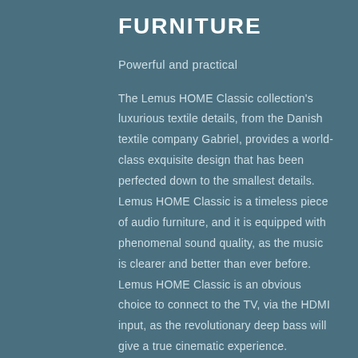FURNITURE
Powerful and practical
The Lemus HOME Classic collection's luxurious textile details, from the Danish textile company Gabriel, provides a world-class exquisite design that has been perfected down to the smallest details. Lemus HOME Classic is a timeless piece of audio furniture, and it is equipped with phenomenal sound quality, as the music is clearer and better than ever before. Lemus HOME Classic is an obvious choice to connect to the TV, via the HDMI input, as the revolutionary deep bass will give a true cinematic experience.